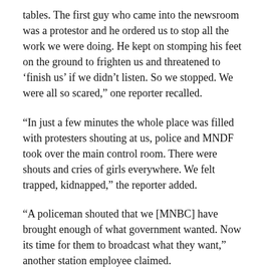tables. The first guy who came into the newsroom was a protestor and he ordered us to stop all the work we were doing. He kept on stomping his feet on the ground to frighten us and threatened to ‘finish us’ if we didn’t listen. So we stopped. We were all so scared,” one reporter recalled.
“In just a few minutes the whole place was filled with protesters shouting at us, police and MNDF took over the main control room. There were shouts and cries of girls everywhere. We felt trapped, kidnapped,” the reporter added.
“A policeman shouted that we [MNBC] have brought enough of what government wanted. Now its time for them to broadcast what they want,” another station employee claimed.
The employee added that they were ordered to patch